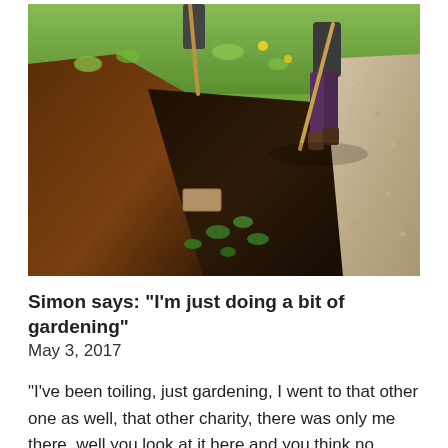[Figure (photo): Two people digging/gardening in a garden plot. On the left is freshly turned dark brown soil, in the middle is a dark earth bed with small green plants, and on the right is a gravel/dry path. Two people are visible holding garden tools (hoes or rakes) working the soil. Taken outdoors in daylight.]
Simon says: “I’m just doing a bit of gardening”
May 3, 2017
“I’ve been toiling, just gardening, I went to that other one as well, that other charity, there was only me there, well you look at it here and you think no, that’s two, three